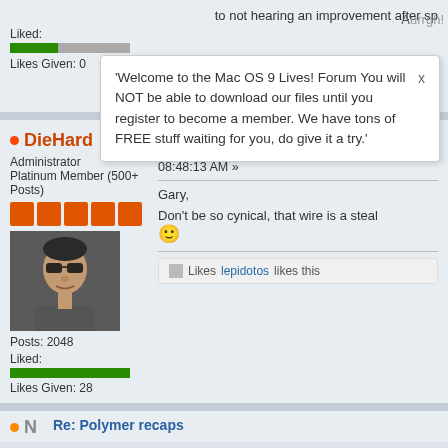to not hearing an improvement after sp
Liked:
[Figure (infographic): Progress bar showing liked ratio, green portion on left, gray on right]
Likes Given: 0
'Welcome to the Mac OS 9 Lives! Forum You will NOT be able to download our files until you register to become a member. We have tons of FREE stuff waiting for you, do give it a try.'
Aurrgh!
Likes lepidotos likes this
DieHard
Administrator
Platinum Member (500+ Posts)
[Figure (photo): Avatar photo of a man wearing sunglasses]
Posts: 2048
Liked:
[Figure (infographic): Full green progress bar for liked]
Likes Given: 28
Re: Polymer recaps
« Reply #3 on: November 24, 20 08:48:13 AM »
Gary,
Don't be so cynical, that wire is a steal 🙂
Likes lepidotos likes this
Re: Polymer recaps